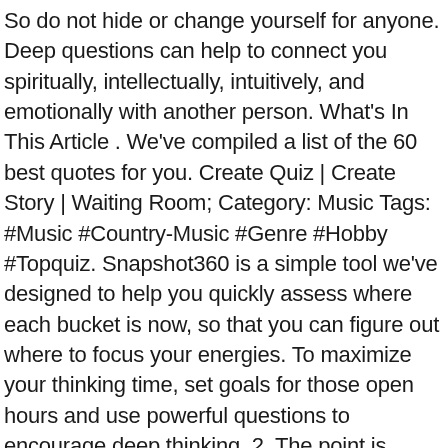So do not hide or change yourself for anyone. Deep questions can help to connect you spiritually, intellectually, intuitively, and emotionally with another person. What's In This Article . We've compiled a list of the 60 best quotes for you. Create Quiz | Create Story | Waiting Room; Category: Music Tags: #Music #Country-Music #Genre #Hobby #Topquiz. Snapshot360 is a simple tool we've designed to help you quickly assess where each bucket is now, so that you can figure out where to focus your energies. To maximize your thinking time, set goals for those open hours and use powerful questions to encourage deep thinking. 2. The point is, knowledge is power and asking the right questions can unlock the gates for a meaningful connection and deep understanding of one another. Maybe you â¦ Instead, pick an interesting subject that will help the other person open up a bit about themselves and their views.. Weâve added blank pages so that you can write your own, too! Would you rather is a fun and simple-to-play game of this or that questions that can be played by two or more people..